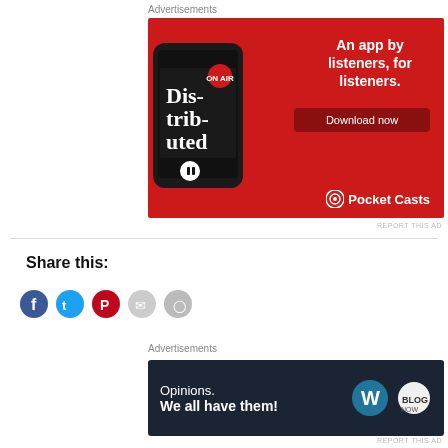Advertisements
[Figure (illustration): Pocket Casts app advertisement on red background. Shows a smartphone with the Pocket Casts app displaying 'Dis-trib-uted' podcast. Text reads 'An app by listeners, for listeners.' with a 'Download now' button and Pocket Casts logo.]
REPORT THIS AD
Share this:
[Figure (illustration): Social sharing icons: Facebook (blue), Twitter (light blue), Pinterest (red), email/link (gray), and another gray icon.]
Advertisements
[Figure (illustration): WordPress advertisement on dark navy background. Text reads 'Opinions. We all have them!' with WordPress logo (W) and a seal/badge icon on the right.]
REPORT THIS AD